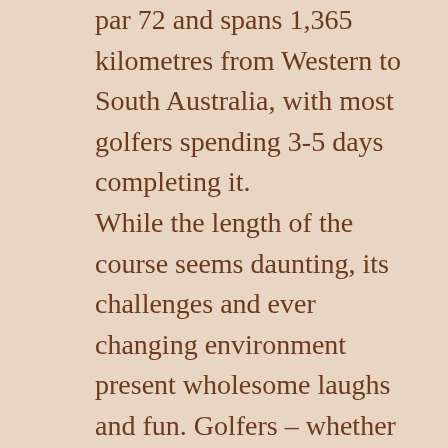par 72 and spans 1,365 kilometres from Western to South Australia, with most golfers spending 3-5 days completing it. While the length of the course seems daunting, its challenges and ever changing environment present wholesome laughs and fun. Golfers – whether first-timers or regulars can have a hit. You can play at any number of holes and at any pace. Each hole presents its own set of unique hazards based on local